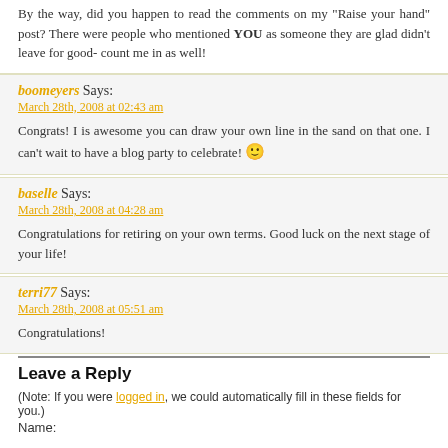By the way, did you happen to read the comments on my "Raise your hand" post? There were people who mentioned YOU as someone they are glad didn't leave for good- count me in as well!
boomeyers Says:
March 28th, 2008 at 02:43 am
Congrats! I is awesome you can draw your own line in the sand on that one. I can't wait to have a blog party to celebrate!
baselle Says:
March 28th, 2008 at 04:28 am
Congratulations for retiring on your own terms. Good luck on the next stage of your life!
terri77 Says:
March 28th, 2008 at 05:51 am
Congratulations!
Leave a Reply
(Note: If you were logged in, we could automatically fill in these fields for you.)
Name: